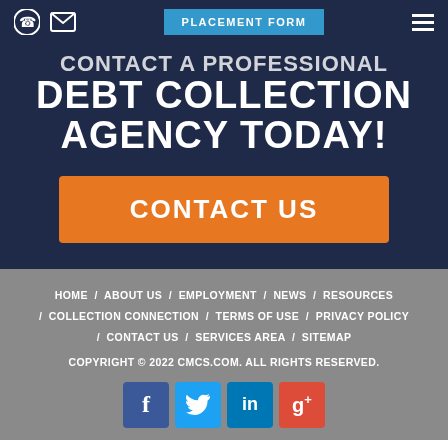PLACEMENT FORM
CONTACT A PROFESSIONAL DEBT COLLECTION AGENCY TODAY!
CONTACT US
HOME / ABOUT US / EMPLOYMENT / NEWS / RESOURCES / COLLECTION CONNECTION / TERMS OF USE / PRIVACY POLICY / CONTACT US / SERVICES AREA / SITEMAP
COPYRIGHT © 2022 CMCS.COM. ALL RIGHTS RESERVED.